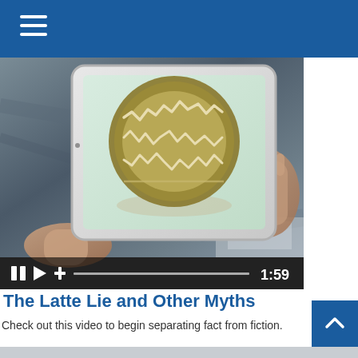[Figure (screenshot): Video player screenshot showing a person holding a tablet displaying a stock chart inside a coffee cup illustration. Video controls show pause, play, plus icons, a progress bar, and timestamp 1:59.]
The Latte Lie and Other Myths
Check out this video to begin separating fact from fiction.